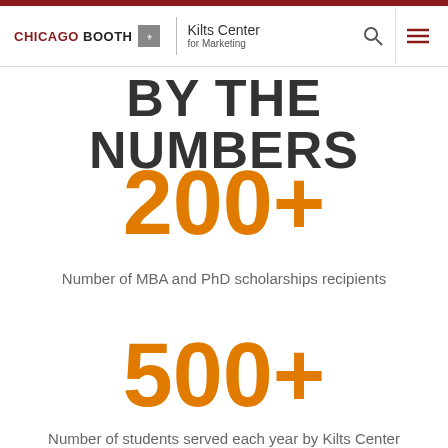CHICAGO BOOTH | Kilts Center for Marketing
BY THE NUMBERS
200+
Number of MBA and PhD scholarships recipients
500+
Number of students served each year by Kilts Center